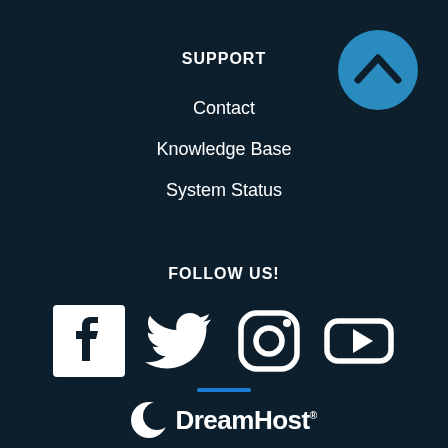[Figure (other): Back-to-top circular button with upward chevron arrow on blue circle background]
SUPPORT
Contact
Knowledge Base
System Status
FOLLOW US!
[Figure (other): Social media icons: Facebook, Twitter, Instagram, YouTube]
[Figure (logo): DreamHost logo with crescent moon icon and DreamHost text with registered trademark symbol]